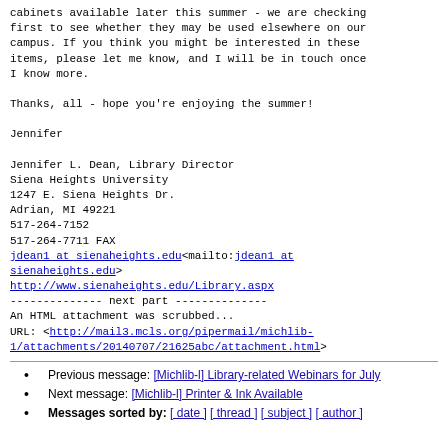We may also have library shelving and microform cabinets available later this summer - we are checking first to see whether they may be used elsewhere on our campus. If you think you might be interested in these items, please let me know, and I will be in touch once I know more.

Thanks, all - hope you're enjoying the summer!

Jennifer

Jennifer L. Dean, Library Director
Siena Heights University
1247 E. Siena Heights Dr.
Adrian, MI 49221
517-264-7152
517-264-7711 FAX
jdean1 at sienaheights.edu<mailto:jdean1 at sienaheights.edu>
http://www.sienaheights.edu/Library.aspx
-------------- next part --------------
An HTML attachment was scrubbed...
URL: <http://mail3.mcls.org/pipermail/michlib-1/attachments/20140707/21625abc/attachment.html>
Previous message: [Michlib-l] Library-related Webinars for July
Next message: [Michlib-l] Printer & Ink Available
Messages sorted by: [ date ] [ thread ] [ subject ] [ author ]